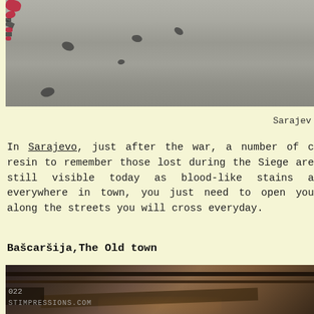[Figure (photo): Close-up photograph of concrete pavement/road surface with scattered dark marks and red spots, resembling Sarajevo Roses (war memorial markings filled with red resin)]
Sarajev
In Sarajevo, just after the war, a number of c resin to remember those lost during the Siege are still visible today as blood-like stains a everywhere in town, you just need to open you along the streets you will cross everyday.
Bašcaršija,The Old town
[Figure (photo): Photograph of old wooden roof structures/eaves in Bašcaršija, the old town of Sarajevo, with warm sepia/vintage tones]